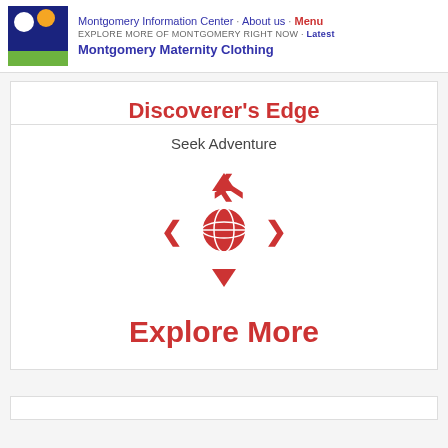Montgomery Information Center · About us · Menu
EXPLORE MORE OF MONTGOMERY RIGHT NOW · Latest
Montgomery Maternity Clothing
Discoverer's Edge
Seek Adventure
[Figure (illustration): Navigation icon cluster: up arrow, left arrow, globe with arrow icon, right arrow, down arrow, arranged in a cross pattern in red]
Explore More